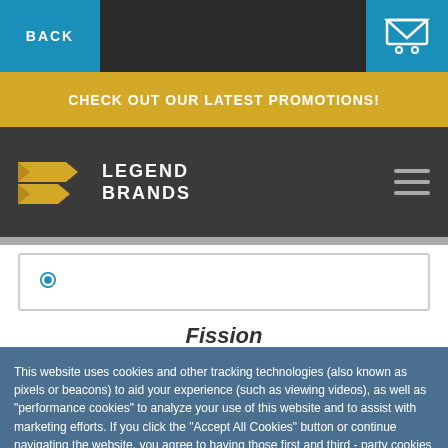BACK | [cart icon]
CHECK OUT OUR LATEST PROMOTIONS!
[Figure (logo): Legend Brands logo with yellow chevron stripes and white text reading LEGEND BRANDS]
Fission
This website uses cookies and other tracking technologies (also known as pixels or beacons) to aid your experience (such as viewing videos), as well as "performance cookies" to analyze your use of this website and to assist with marketing efforts. If you click the "Accept All Cookies" button or continue navigating the website, you agree to having those first and third - party cookies set on your device. If you do not wish to accept cookies from this website, you can choose to not allow cookies from this website by updating your browser preferences. For more information on how we use Cookies, please read our Privacy Policy.
ACCEPT ALL COOKIES